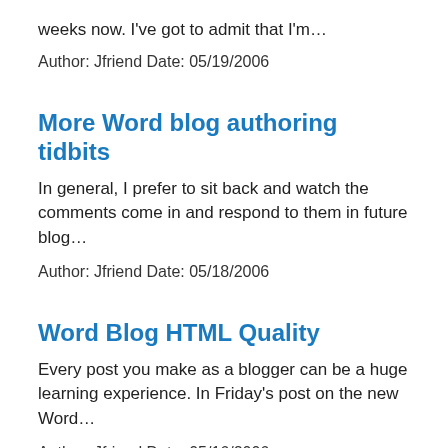weeks now. I've got to admit that I'm…
Author: Jfriend Date: 05/19/2006
More Word blog authoring tidbits
In general, I prefer to sit back and watch the comments come in and respond to them in future blog…
Author: Jfriend Date: 05/18/2006
Word Blog HTML Quality
Every post you make as a blogger can be a huge learning experience. In Friday's post on the new Word…
Author: Jfriend Date: 05/16/2006
Sign up for Beta 2 now...